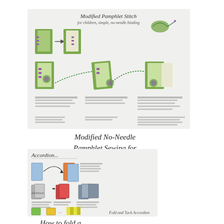[Figure (illustration): Illustrated instructional diagram for Modified Pamphlet Stitch bookbinding, showing step-by-step colored drawings of book covers, needles, thread, and folded pages with green and purple colors.]
Modified No-Needle Pamphlet Sewing for Children
[Figure (illustration): Illustrated instructional diagram for Accordion book folding, showing step-by-step colored drawings of folding paper in blue, orange, and yellow colors, with text labels including 'Accordion' and 'Fold and Tuck Accordion'.]
How to fold a...